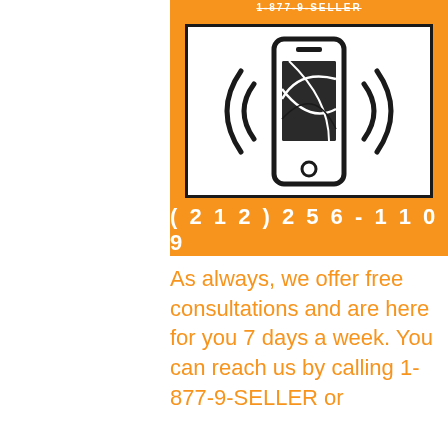1-877-9-SELLER
[Figure (illustration): Orange background box with white inner rectangle containing a smartphone icon with WiFi/signal waves on either side and a network/globe graphic on the phone screen]
(212) 256-1109
As always, we offer free consultations and are here for you 7 days a week. You can reach us by calling 1-877-9-SELLER or